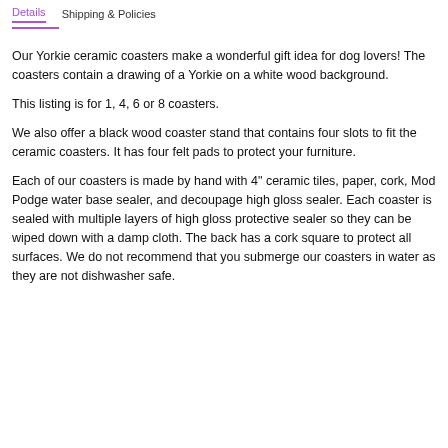Details | Shipping & Policies
Our Yorkie ceramic coasters make a wonderful gift idea for dog lovers! The coasters contain a drawing of a Yorkie on a white wood background.
This listing is for 1, 4, 6 or 8 coasters.
We also offer a black wood coaster stand that contains four slots to fit the ceramic coasters. It has four felt pads to protect your furniture.
Each of our coasters is made by hand with 4" ceramic tiles, paper, cork, Mod Podge water base sealer, and decoupage high gloss sealer. Each coaster is sealed with multiple layers of high gloss protective sealer so they can be wiped down with a damp cloth. The back has a cork square to protect all surfaces. We do not recommend that you submerge our coasters in water as they are not dishwasher safe.